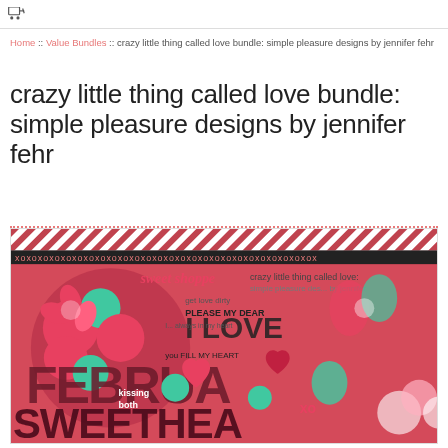[cart icon]
Home :: Value Bundles :: crazy little thing called love bundle: simple pleasure designs by jennifer fehr
crazy little thing called love bundle: simple pleasure designs by jennifer fehr
[Figure (photo): Product bundle promotional image showing a scrapbooking digital kit with Valentine's/love theme. Features red, pink, teal floral elements, hearts, butterflies, text overlays including 'sweet shoppe', 'FEBRUARY', 'SWEETHEA[RT]', 'I LOVE', 'you fill my heart'. A dark circular badge reads 'buy the Bundle & SAVE!' with 'save 41%' in the top right.]